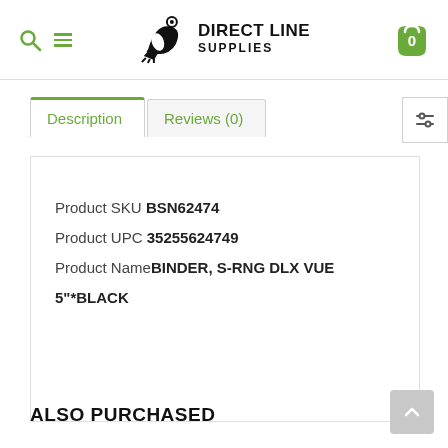Direct Line Supplies
Description | Reviews (0)
Product SKU BSN62474
Product UPC 35255624749
Product Name BINDER, S-RNG DLX VUE 5"*BLACK
ALSO PURCHASED